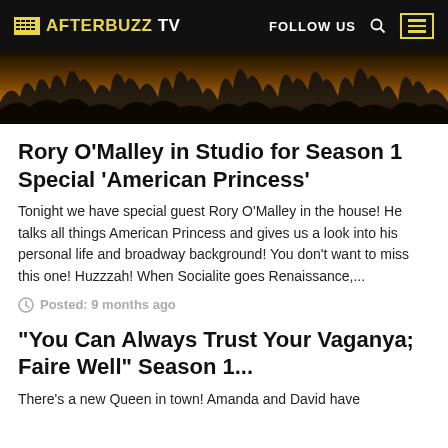AFTERBUZZ TV | FOLLOW US
[Figure (photo): Dark crowd silhouette with raised hands against warm amber/orange background]
Rory O'Malley in Studio for Season 1 Special 'American Princess'
Tonight we have special guest Rory O'Malley in the house! He talks all things American Princess and gives us a look into his personal life and broadway background! You don't want to miss this one! Huzzzah! When Socialite goes Renaissance,...
Posted: 9 months ago
"You Can Always Trust Your Vaganya; Faire Well" Season 1...
There's a new Queen in town! Amanda and David have